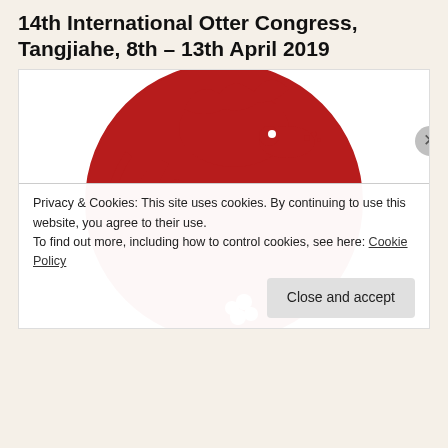14th International Otter Congress, Tangjiahe, 8th – 13th April 2019
[Figure (illustration): Red and white circular Chinese paper-cut art style illustration of an otter in a circular frame, decorative traditional design]
Privacy & Cookies: This site uses cookies. By continuing to use this website, you agree to their use.
To find out more, including how to control cookies, see here: Cookie Policy
Close and accept